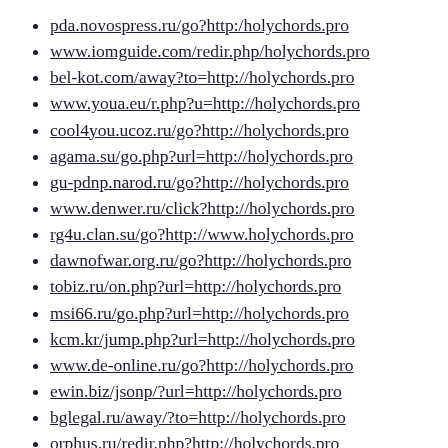pda.novospress.ru/go?http:/holychords.pro
www.iomguide.com/redir.php/holychords.pro
bel-kot.com/away?to=http://holychords.pro
www.youa.eu/r.php?u=http://holychords.pro
cool4you.ucoz.ru/go?http://holychords.pro
agama.su/go.php?url=http://holychords.pro
gu-pdnp.narod.ru/go?http://holychords.pro
www.denwer.ru/click?http://holychords.pro
rg4u.clan.su/go?http://www.holychords.pro
dawnofwar.org.ru/go?http://holychords.pro
tobiz.ru/on.php?url=http://holychords.pro
msi66.ru/go.php?url=http://holychords.pro
kcm.kr/jump.php?url=http://holychords.pro
www.de-online.ru/go?http://holychords.pro
ewin.biz/jsonp/?url=http://holychords.pro
bglegal.ru/away/?to=http://holychords.pro
orphus.ru/redir.php?http://holychords.pro
megane2.ru/load/url=http://holychords.pro
www.allnn.ru/redirect/?url=holychords.pro (partial)